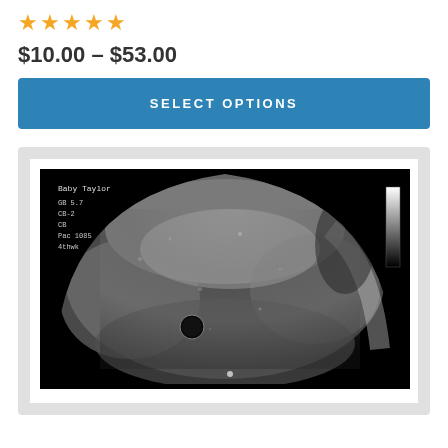★★★★★
$10.00 – $53.00
SELECT OPTIONS
[Figure (photo): Ultrasound image showing a fetal scan in black and white, with medical data text in the upper left corner (Baby Taylor, measurement data), a grayscale bar on the right side, and a bright circular region visible in the lower center of the scan.]